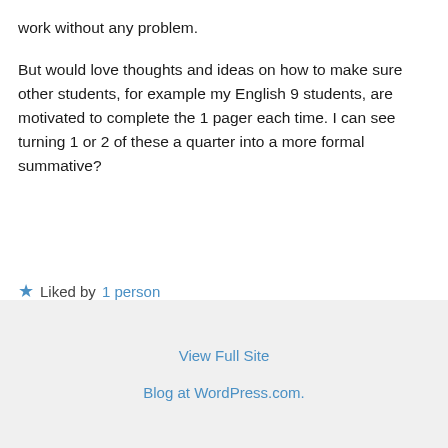work without any problem.
But would love thoughts and ideas on how to make sure other students, for example my English 9 students, are motivated to complete the 1 pager each time. I can see turning 1 or 2 of these a quarter into a more formal summative?
★ Liked by 1 person
↪ Reply
View Full Site
Blog at WordPress.com.